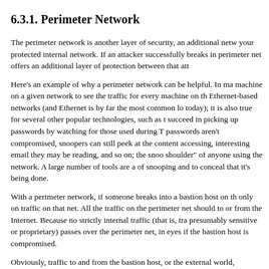6.3.1. Perimeter Network
The perimeter network is another layer of security, an additional netw your protected internal network. If an attacker successfully breaks in perimeter net offers an additional layer of protection between that att
Here's an example of why a perimeter network can be helpful. In ma machine on a given network to see the traffic for every machine on th Ethernet-based networks (and Ethernet is by far the most common lo today); it is also true for several other popular technologies, such as t succeed in picking up passwords by watching for those used during T passwords aren't compromised, snoopers can still peek at the content accessing, interesting email they may be reading, and so on; the snoo shoulder" of anyone using the network. A large number of tools are a of snooping and to conceal that it's being done.
With a perimeter network, if someone breaks into a bastion host on th only on traffic on that net. All the traffic on the perimeter net should to or from the Internet. Because no strictly internal traffic (that is, tra presumably sensitive or proprietary) passes over the perimeter net, in eyes if the bastion host is compromised.
Obviously, traffic to and from the bastion host, or the external world, designing a firewall is ensuring that this traffic is not itself confidenti